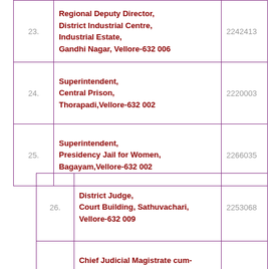| No. | Office/Address | Phone |
| --- | --- | --- |
| 23. | Regional Deputy Director, District Industrial Centre, Industrial Estate, Gandhi Nagar, Vellore-632 006 | 2242413 |
| 24. | Superintendent, Central Prison, Thorapadi, Vellore-632 002 | 2220003 |
| 25. | Superintendent, Presidency Jail for Women, Bagayam, Vellore-632 002 | 2266035 |
| No. | Office/Address | Phone |
| --- | --- | --- |
| 26. | District Judge, Court Building, Sathuvachari, Vellore-632 009 | 2253068 |
| 27. | Chief Judicial Magistrate cum-Addl.District Judge, Court Building, Sathuvachari, | 2253078 |